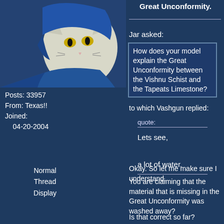[Figure (illustration): Avatar of an anthropomorphic cat character wearing a blue outfit, positioned in the top-left area of the page]
Great Unconformity.
Jar asked:
How does your model explain the Great Unconformity between the Vishnu Schist and the Tapeats Limestone?
to which Vashgun replied:
quote:
Lets see,
a lot of water.
Okay. So let me make sure I understand.
You are claiming that the material that is missing in the Great Unconformity was washed away?
Is that correct so far?
Posts: 33957
From: Texas!!
Joined:
    04-20-2004
Normal
Thread
Display